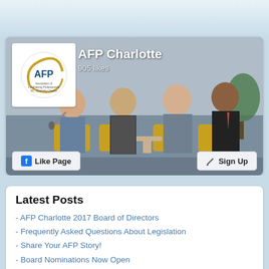[Figure (screenshot): Facebook page widget for AFP Charlotte showing cover photo with panel of speakers, AFP logo avatar, 905 likes, Like Page button, and Sign Up button]
Latest Posts
- AFP Charlotte 2017 Board of Directors
- Frequently Asked Questions About Legislation
- Share Your AFP Story!
- Board Nominations Now Open
- Conference Site Down - Regular Rates Extended
- Member Confession: Mike Blackwelder, Director of Donor & Community Relations, Safe Alliance
- 2014 AFP Charlotte Membership Survey Results
- LaGrange College Offering MA in Philanthropy
- Member Confession: Jennifer Player, Director, Crisis Assistance